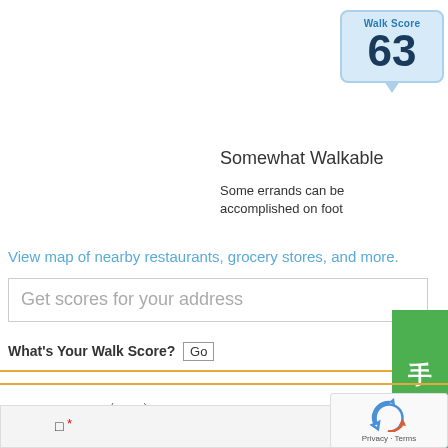[Figure (infographic): Walk Score badge showing score of 63 in a light blue speech bubble]
Somewhat Walkable
Some errands can be accomplished on foot
View map of nearby restaurants, grocery stores, and more.
Get scores for your address
What's Your Walk Score? [Go]
□□□□□□□□□□□□, □□□□(□□□□□)□□□□□□. □□□□□. □□□□□□□□□□□□□□.
*We do not represent the builder □□□□□□□□
[Figure (infographic): Green vertical share button with Chinese characters 手机分享]
[Figure (infographic): reCAPTCHA widget with recycling arrows icon and Privacy · Terms text]